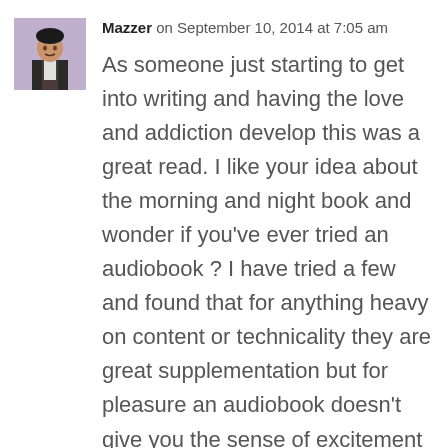[Figure (photo): Avatar photo of a person in dark Victorian-style clothing with a light background]
Mazzer on September 10, 2014 at 7:05 am
As someone just starting to get into writing and having the love and addiction develop this was a great read. I like your idea about the morning and night book and wonder if you've ever tried an audiobook ? I have tried a few and found that for anything heavy on content or technicality they are great supplementation but for pleasure an audiobook doesn't give you the sense of excitement you get